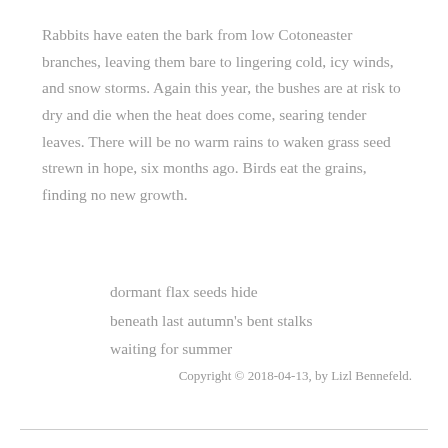Rabbits have eaten the bark from low Cotoneaster branches, leaving them bare to lingering cold, icy winds, and snow storms. Again this year, the bushes are at risk to dry and die when the heat does come, searing tender leaves. There will be no warm rains to waken grass seed strewn in hope, six months ago. Birds eat the grains, finding no new growth.
dormant flax seeds hide
beneath last autumn's bent stalks
waiting for summer
Copyright © 2018-04-13, by Lizl Bennefeld.